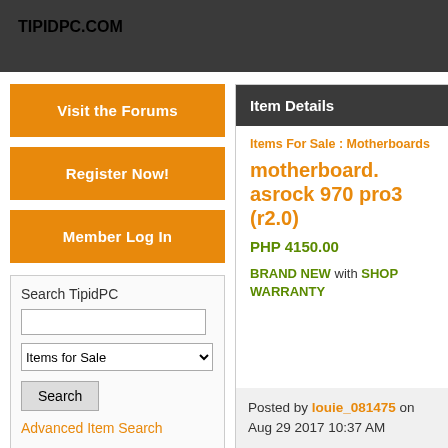TIPIDPC.COM
Visit the Forums
Register Now!
Member Log In
Search TipidPC
Items for Sale
Search
Advanced Item Search
Item Details
Items For Sale : Motherboards
motherboard. asrock 970 pro3 (r2.0)
PHP 4150.00
BRAND NEW with SHOP WARRANTY
Posted by louie_081475 on Aug 29 2017 10:37 AM